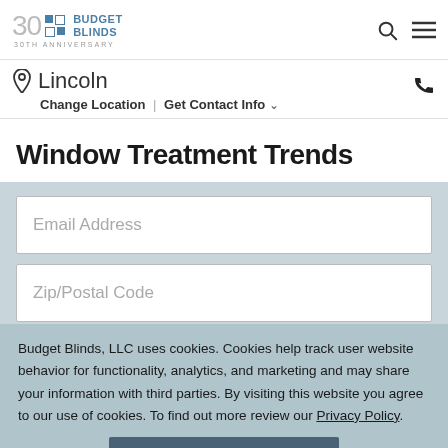[Figure (logo): Budget Blinds 30th Anniversary logo with teal squares and brand name]
Lincoln
Change Location | Get Contact Info
Window Treatment Trends
Email Address
Zip/Postal Code
Budget Blinds, LLC uses cookies. Cookies help track user website behavior for functionality, analytics, and marketing and may share your information with third parties. By visiting this website you agree to our use of cookies. To find out more review our Privacy Policy.
ACCEPT